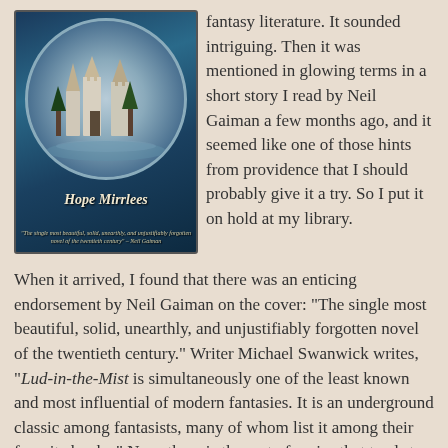[Figure (photo): Book cover of 'Lud-in-the-Mist' by Hope Mirrlees, featuring a fantasy castle in a circular vignette on a blue-green background, with a Neil Gaiman quote below the author name.]
fantasy literature. It sounded intriguing. Then it was mentioned in glowing terms in a short story I read by Neil Gaiman a few months ago, and it seemed like one of those hints from providence that I should probably give it a try. So I put it on hold at my library.
When it arrived, I found that there was an enticing endorsement by Neil Gaiman on the cover: "The single most beautiful, solid, unearthly, and unjustifiably forgotten novel of the twentieth century." Writer Michael Swanwick writes, "Lud-in-the-Mist is simultaneously one of the least known and most influential of modern fantasies. It is an underground classic among fantasists, many of whom list it among their favorite books." Now, there is the sort of praise that tends to heighten one's expectations just a bit.
The story is about a city called Lud-in-the-Mist, which is the